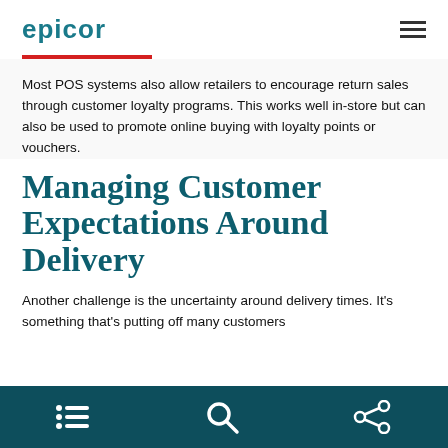EPICOR
Most POS systems also allow retailers to encourage return sales through customer loyalty programs. This works well in-store but can also be used to promote online buying with loyalty points or vouchers.
Managing Customer Expectations Around Delivery
Another challenge is the uncertainty around delivery times. It's something that's putting off many customers
bottom navigation bar with list, search, and share icons